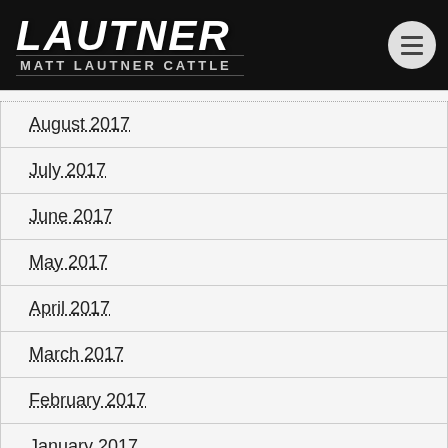LAUTNER - MATT LAUTNER CATTLE
August 2017
July 2017
June 2017
May 2017
April 2017
March 2017
February 2017
January 2017